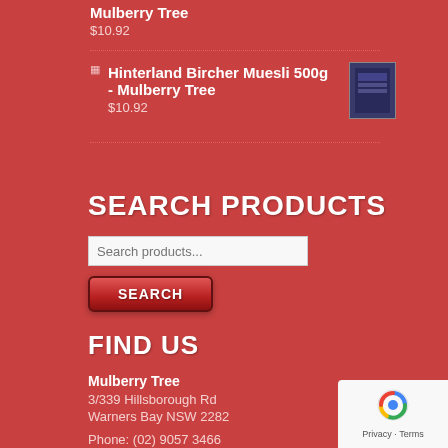Mulberry Tree
$10.92
Hinterland Bircher Muesli 500g - Mulberry Tree
[Figure (photo): Product image of Hinterland Bircher Muesli 500g package, dark blue/purple box]
$10.92
SEARCH PRODUCTS
Search products...
SEARCH
FIND US
Mulberry Tree
3/339 Hillsborough Rd
Warners Bay NSW 2282
Phone: (02) 9057 3466
Email: Contact
[Figure (logo): reCAPTCHA badge with Privacy and Terms links]